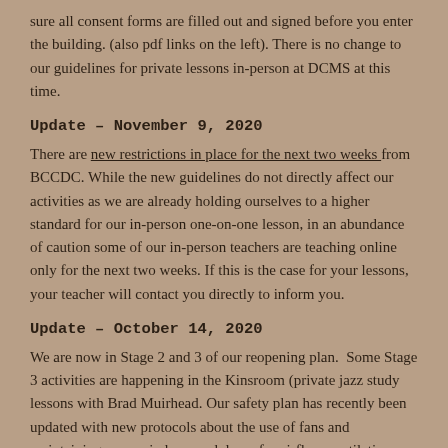sure all consent forms are filled out and signed before you enter the building. (also pdf links on the left). There is no change to our guidelines for private lessons in-person at DCMS at this time.
Update – November 9, 2020
There are new restrictions in place for the next two weeks from BCCDC. While the new guidelines do not directly affect our activities as we are already holding ourselves to a higher standard for our in-person one-on-one lesson, in an abundance of caution some of our in-person teachers are teaching online only for the next two weeks. If this is the case for your lessons,  your teacher will contact you directly to inform you.
Update – October 14, 2020
We are now in Stage 2 and 3 of our reopening plan.  Some Stage 3 activities are happening in the Kinsroom (private jazz study lessons with Brad Muirhead. Our safety plan has recently been updated with new protocols about the use of fans and maintaining open windows and doors for airflow ventilation.